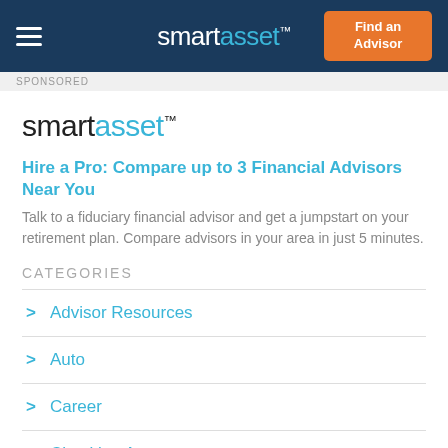smartasset™ — Find an Advisor
SPONSORED
[Figure (logo): SmartAsset logo: 'smart' in dark gray, 'asset' in blue, with ™ superscript]
Hire a Pro: Compare up to 3 Financial Advisors Near You
Talk to a fiduciary financial advisor and get a jumpstart on your retirement plan. Compare advisors in your area in just 5 minutes.
CATEGORIES
Advisor Resources
Auto
Career
Checking Account
Credit Cards